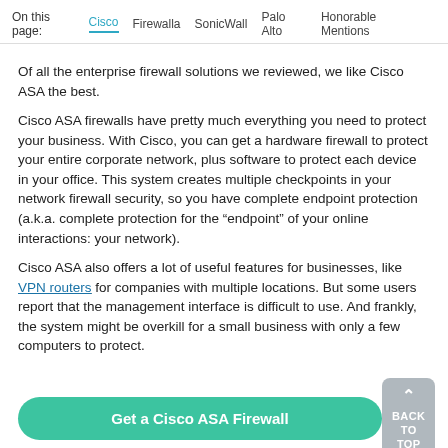On this page: Cisco  Firewalla  SonicWall  Palo Alto  Honorable Mentions
Of all the enterprise firewall solutions we reviewed, we like Cisco ASA the best.
Cisco ASA firewalls have pretty much everything you need to protect your business. With Cisco, you can get a hardware firewall to protect your entire corporate network, plus software to protect each device in your office. This system creates multiple checkpoints in your network firewall security, so you have complete endpoint protection (a.k.a. complete protection for the “endpoint” of your online interactions: your network).
Cisco ASA also offers a lot of useful features for businesses, like VPN routers for companies with multiple locations. But some users report that the management interface is difficult to use. And frankly, the system might be overkill for a small business with only a few computers to protect.
Get a Cisco ASA Firewall